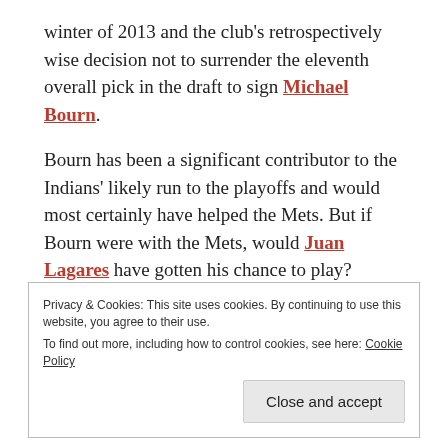winter of 2013 and the club's retrospectively wise decision not to surrender the eleventh overall pick in the draft to sign Michael Bourn.
Bourn has been a significant contributor to the Indians' likely run to the playoffs and would most certainly have helped the Mets. But if Bourn were with the Mets, would Juan Lagares have gotten his chance to play? Lagares has very rapidly become perhaps the best defensive center fielder in baseball and already baserunners are leaving skid marks in the dirt when they round third base and think about scoring on
Privacy & Cookies: This site uses cookies. By continuing to use this website, you agree to their use.
To find out more, including how to control cookies, see here: Cookie Policy
Close and accept